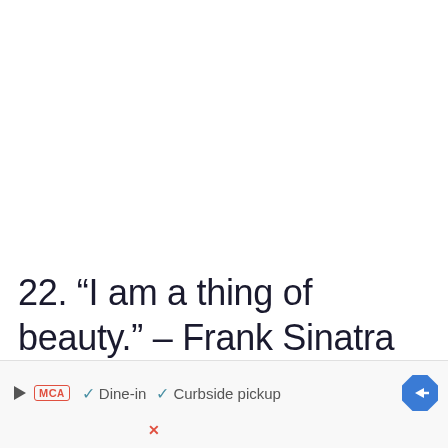22. “I am a thing of beauty.” – Frank Sinatra
[Figure (other): Advertisement bar showing a play button, McAs logo, checkmarks for Dine-in and Curbside pickup, a blue diamond arrow icon, and an X close button]